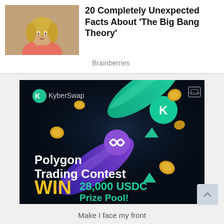[Figure (photo): Thumbnail photo of a blonde woman from The Big Bang Theory TV show]
20 Completely Unexpected Facts About 'The Big Bang Theory'
Brainberries
[Figure (advertisement): KyberSwap Polygon Trading Contest advertisement - WIN 28,000 USDC Prize Pool! with crypto coin graphics on dark background]
Make I face my front
Make obanie no use me test run